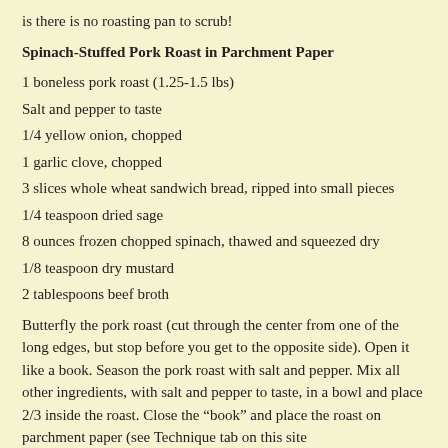is there is no roasting pan to scrub!
Spinach-Stuffed Pork Roast in Parchment Paper
1 boneless pork roast (1.25-1.5 lbs)
Salt and pepper to taste
1/4 yellow onion, chopped
1 garlic clove, chopped
3 slices whole wheat sandwich bread, ripped into small pieces
1/4 teaspoon dried sage
8 ounces frozen chopped spinach, thawed and squeezed dry
1/8 teaspoon dry mustard
2 tablespoons beef broth
Butterfly the pork roast (cut through the center from one of the long edges, but stop before you get to the opposite side). Open it like a book. Season the pork roast with salt and pepper. Mix all other ingredients, with salt and pepper to taste, in a bowl and place 2/3 inside the roast. Close the "book" and place the roast on parchment paper (see Technique tab on this site